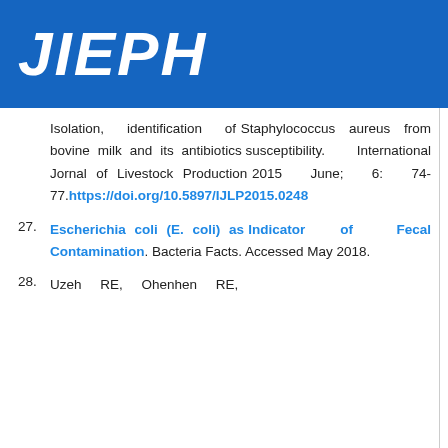JIEPH
Isolation, identification of Staphylococcus aureus from bovine milk and its antibiotics susceptibility. International Jornal of Livestock Production 2015 June; 6: 74-77. https://doi.org/10.5897/IJLP2015.0248
27. Escherichia coli (E. coli) as Indicator of Fecal Contamination. Bacteria Facts. Accessed May 2018.
28. Uzeh RE, Ohenhen RE,